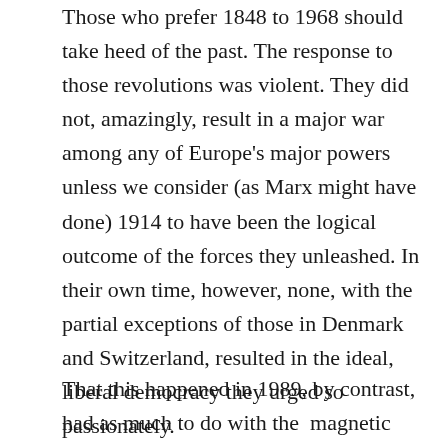Those who prefer 1848 to 1968 should take heed of the past. The response to those revolutions was violent. They did not, amazingly, result in a major war among any of Europe's major powers unless we consider (as Marx might have done) 1914 to have been the logical outcome of the forces they unleashed. In their own time, however, none, with the partial exceptions of those in Denmark and Switzerland, resulted in the ideal, liberal democracy they urged so passionately.
That this happened in 1989, by contrast, had as much to do with the magnetic existence